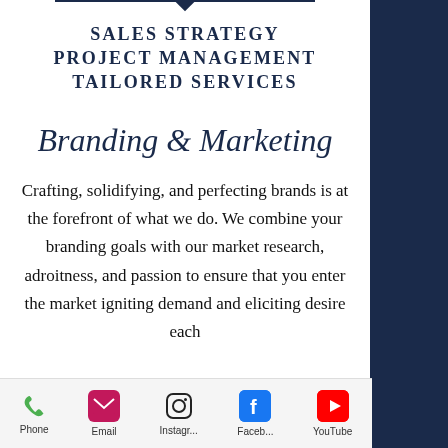SALES STRATEGY
PROJECT MANAGEMENT
TAILORED SERVICES
Branding & Marketing
Crafting, solidifying, and perfecting brands is at the forefront of what we do. We combine your branding goals with our market research, adroitness, and passion to ensure that you enter the market igniting demand and eliciting desire each
Phone | Email | Instagr... | Faceb... | YouTube